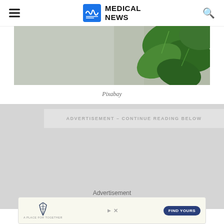MEDICAL NEWS
[Figure (photo): Close-up photo of green plant leaves against a grey/concrete background]
Pixabay
ADVERTISEMENT - CONTINUE READING BELOW
Advertisement
[Figure (screenshot): Advertisement card with tie icon, tagline 'A PLACE FOR TOGETHER', and 'FIND YOURS' button on dark blue background]